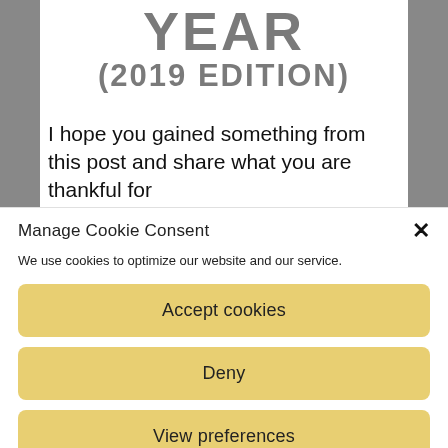YEAR
(2019 EDITION)
I hope you gained something from this post and share what you are thankful for
Manage Cookie Consent
We use cookies to optimize our website and our service.
Accept cookies
Deny
View preferences